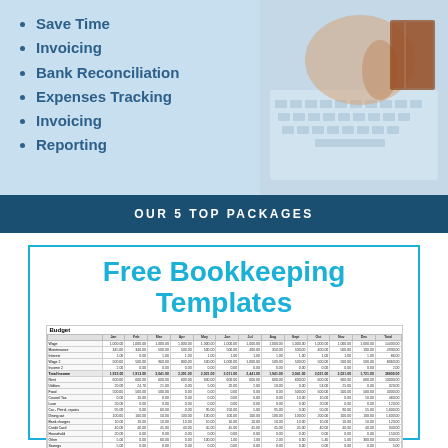Save Time
Invoicing
Bank Reconciliation
Expenses Tracking
Invoicing
Reporting
[Figure (photo): Person typing on laptop keyboard with notebook, bookkeeping/accounting context]
OUR 5 TOP PACKAGES
Free Bookkeeping Templates
[Figure (screenshot): Spreadsheet thumbnail showing a Budget template with rows for income (Wage, Maintenance, Interest, Wage 2, Income 2, Total Income) and expenses (Rent, Utilities, Food, Council Tax, Loan, Car - Petrol/repairs, Dining out, Bank charges, Credit Card, Household, Other, Savings, Pension, Total Expenditure) across months Jan-Dec with totals]